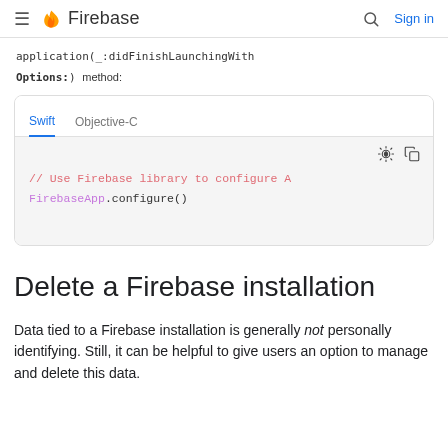Firebase  Sign in
application(_:didFinishLaunchingWithOptions:) method:
[Figure (screenshot): Code editor tab panel with Swift and Objective-C tabs. Swift tab is active with blue underline. Code shown: // Use Firebase library to configure A  FirebaseApp.configure()]
Delete a Firebase installation
Data tied to a Firebase installation is generally not personally identifying. Still, it can be helpful to give users an option to manage and delete this data.